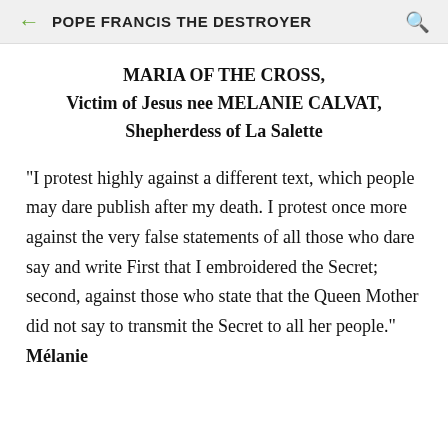POPE FRANCIS THE DESTROYER
MARIA OF THE CROSS,
Victim of Jesus nee MELANIE CALVAT,
Shepherdess of La Salette
"I protest highly against a different text, which people may dare publish after my death. I protest once more against the very false statements of all those who dare say and write First that I embroidered the Secret; second, against those who state that the Queen Mother did not say to transmit the Secret to all her people." Mélanie